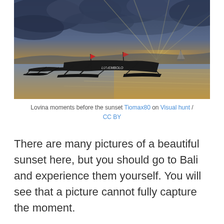[Figure (photo): Photograph of traditional Indonesian outrigger boats (jukung) moored on calm water at Lovina, Bali, with a dramatic sunset sky featuring golden light breaking through dark storm clouds, and a sailboat in the background.]
Lovina moments before the sunset Tiomax80 on Visual hunt / CC BY
There are many pictures of a beautiful sunset here, but you should go to Bali and experience them yourself. You will see that a picture cannot fully capture the moment.